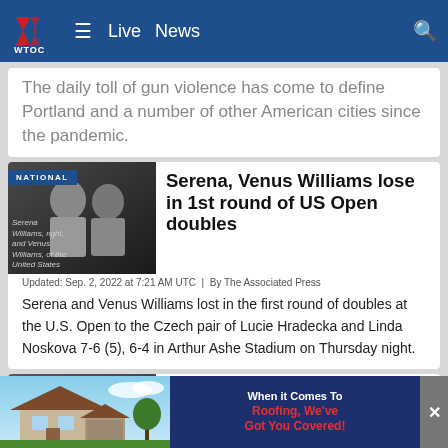WTOC — Live | News
The daily toll of gun violence has come to define Portland and a number of other American cities since the pandemic.
[Figure (photo): Thumbnail photo of Serena Williams (right) and Venus Williams of the United States with NATIONAL badge overlay]
Serena, Venus Williams lose in 1st round of US Open doubles
Updated: Sep. 2, 2022 at 7:21 AM UTC  |  By The Associated Press
Serena and Venus Williams lost in the first round of doubles at the U.S. Open to the Czech pair of Lucie Hradecka and Linda Noskova 7-6 (5), 6-4 in Arthur Ashe Stadium on Thursday night.
[Figure (photo): Partial thumbnail of FILE photo - First lady Michelle Obama and President Barack Obama, with NATIONAL badge and play button overlay]
Biden to help unveil
[Figure (screenshot): Ad banner: house photo on left, dark blue background with text 'When it Comes To Roofing, We've Got You Covered!' in red/white, close button on right]